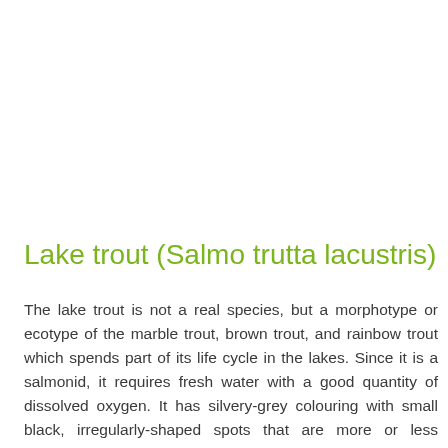Lake trout (Salmo trutta lacustris)
The lake trout is not a real species, but a morphotype or ecotype of the marble trout, brown trout, and rainbow trout which spends part of its life cycle in the lakes. Since it is a salmonid, it requires fresh water with a good quantity of dissolved oxygen. It has silvery-grey colouring with small black, irregularly-shaped spots that are more or less pronounced. Its colour helps the trout to blend in the lake. The back is dark while the belly is clear. Its body is elongated, and it has a large head and a medium-sized mouth with tooth. It can reach 100